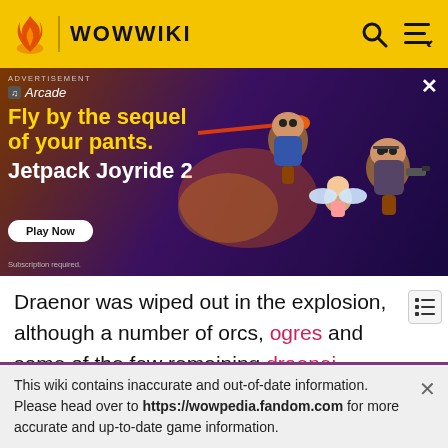WOWWIKI
[Figure (screenshot): Advertisement for Jetpack Joyride 2 Apple Arcade game showing animated characters flying with jetpacks. Orange text reads 'Fly by the sequel of your pants. Jetpack Joyride 2' with a 'Play Now' button.]
Draenor was wiped out in the explosion, although a number of orcs, ogres and some of the few remaining draenei survived. After the explosion, a Pit Lord named Magtheridon rallied the surviving orcs and took control of Outland. Using the remaining Dimensional Gates, he drew demons from the Twisting Nether to aid him.
This wiki contains inaccurate and out-of-date information. Please head over to https://wowpedia.fandom.com for more accurate and up-to-date game information.